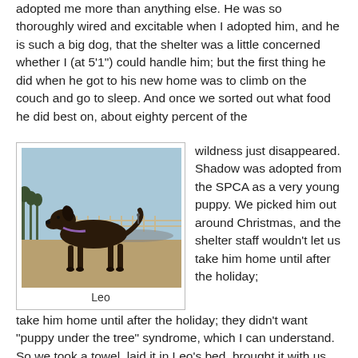adopted me more than anything else. He was so thoroughly wired and excitable when I adopted him, and he is such a big dog, that the shelter was a little concerned whether I (at 5'1") could handle him; but the first thing he did when he got to his new home was to climb on the couch and go to sleep. And once we sorted out what food he did best on, about eighty percent of the
[Figure (photo): A large dark brown/black dog standing in a park or open field with a road and trees visible in the background. The dog is wearing a purple collar and stands alert in profile view.]
Leo
wildness just disappeared. Shadow was adopted from the SPCA as a very young puppy. We picked him out around Christmas, and the shelter staff wouldn't let us take him home until after the holiday; they didn't want "puppy under the tree" syndrome, which I can understand. So we took a towel, laid it in Leo's bed, brought it with us every day